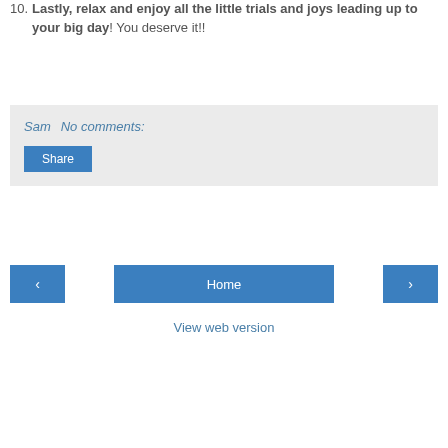10. Lastly, relax and enjoy all the little trials and joys leading up to your big day! You deserve it!!
Sam   No comments:
Share
‹   Home   ›
View web version